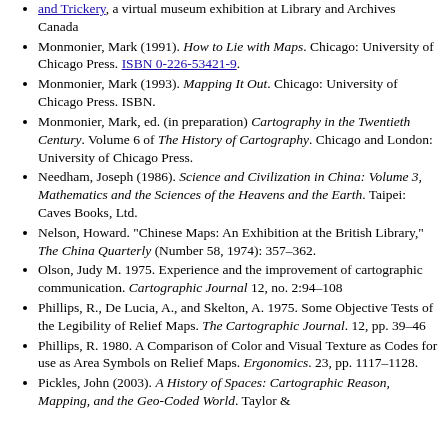and Trickery, a virtual museum exhibition at Library and Archives Canada
Monmonier, Mark (1991). How to Lie with Maps. Chicago: University of Chicago Press. ISBN 0-226-53421-9.
Monmonier, Mark (1993). Mapping It Out. Chicago: University of Chicago Press. ISBN.
Monmonier, Mark, ed. (in preparation) Cartography in the Twentieth Century. Volume 6 of The History of Cartography. Chicago and London: University of Chicago Press.
Needham, Joseph (1986). Science and Civilization in China: Volume 3, Mathematics and the Sciences of the Heavens and the Earth. Taipei: Caves Books, Ltd.
Nelson, Howard. "Chinese Maps: An Exhibition at the British Library," The China Quarterly (Number 58, 1974): 357–362.
Olson, Judy M. 1975. Experience and the improvement of cartographic communication. Cartographic Journal 12, no. 2:94–108
Phillips, R., De Lucia, A., and Skelton, A. 1975. Some Objective Tests of the Legibility of Relief Maps. The Cartographic Journal. 12, pp. 39–46
Phillips, R. 1980. A Comparison of Color and Visual Texture as Codes for use as Area Symbols on Relief Maps. Ergonomics. 23, pp. 1117–1128.
Pickles, John (2003). A History of Spaces: Cartographic Reason, Mapping, and the Geo-Coded World. Taylor &